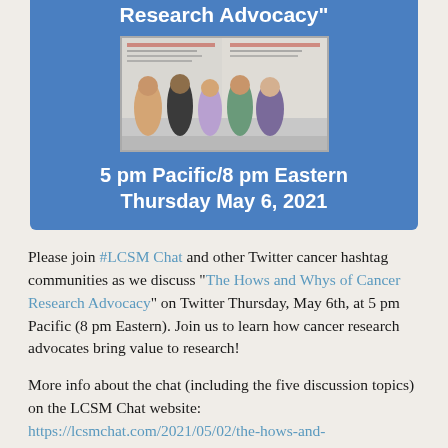[Figure (infographic): Blue banner with bold white text 'Research Advocacy"', a group photo of five people standing in front of research posters, and bold white text '5 pm Pacific/8 pm Eastern Thursday May 6, 2021']
Please join #LCSM Chat and other Twitter cancer hashtag communities as we discuss "The Hows and Whys of Cancer Research Advocacy" on Twitter Thursday, May 6th, at 5 pm Pacific (8 pm Eastern). Join us to learn how cancer research advocates bring value to research!
More info about the chat (including the five discussion topics) on the LCSM Chat website: https://lcsmchat.com/2021/05/02/the-hows-and-